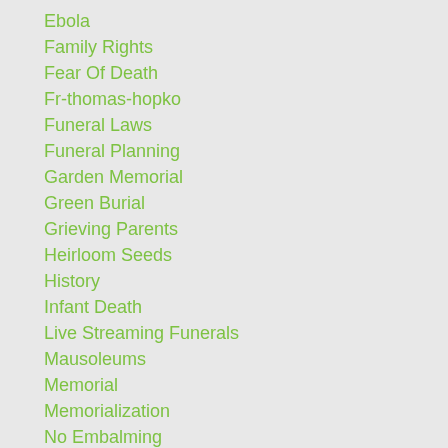Ebola
Family Rights
Fear Of Death
Fr-thomas-hopko
Funeral Laws
Funeral Planning
Garden Memorial
Green Burial
Grieving Parents
Heirloom Seeds
History
Infant Death
Live Streaming Funerals
Mausoleums
Memorial
Memorialization
No Embalming
Non Religious
Orthodox